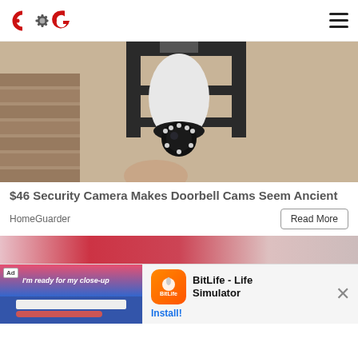GeeksForGeeks logo and navigation
[Figure (photo): Security camera shaped like a light bulb installed in an outdoor wall lantern fixture against a stucco wall]
$46 Security Camera Makes Doorbell Cams Seem Ancient
HomeGuarder
[Figure (screenshot): Advertisement overlay showing a BitLife - Life Simulator app install ad with a mobile game screenshot on the left and the BitLife app icon on the right with an Install button]
Read More